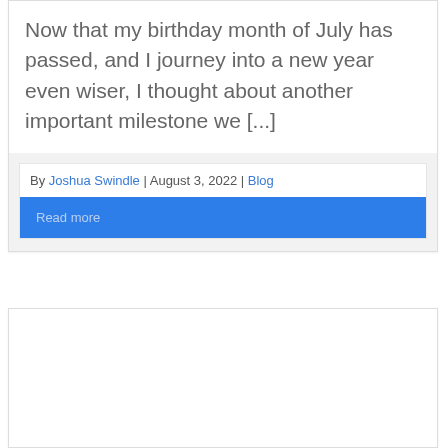Now that my birthday month of July has passed, and I journey into a new year even wiser, I thought about another important milestone we [...]
By Joshua Swindle | August 3, 2022 | Blog
Read more